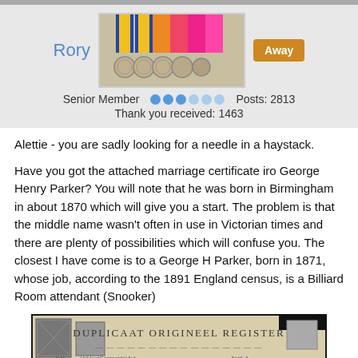[Figure (photo): Forum profile section with username Rory, a photo of military medals with colorful ribbons, Away status button, Senior Member rank with blue dots, Posts: 2813, Thank you received: 1463]
Alettie - you are sadly looking for a needle in a haystack.
Have you got the attached marriage certificate iro George Henry Parker? You will note that he was born in Birmingham in about 1870 which will give you a start. The problem is that the middle name wasn't often in use in Victorian times and there are plenty of possibilities which will confuse you. The closest I have come is to a George H Parker, born in 1871, whose job, according to the 1891 England census, is a Billiard Room attendant (Snooker)
[Figure (photo): Scanned document image showing 'DUPLICAAT ORIGINEEL REGISTER' with stamps on left and right corners, partially cut off at bottom]